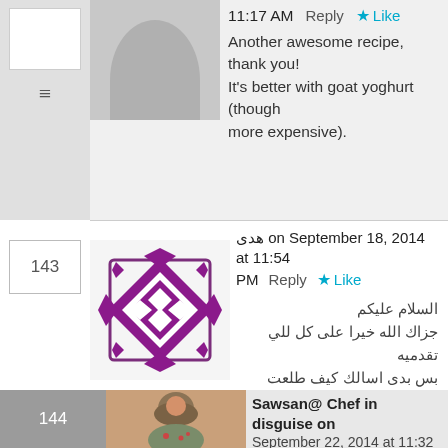11:17 AM   Reply   ★ Like
Another awesome recipe, thank you! It's better with goat yoghurt (though more expensive).
143
هدى on September 18, 2014 at 11:54 PM   Reply   ★ Like
السلام عليكم
جزاك الله خيرا على كل للي تقدميه
بس بدى اسالك كيف طلعت اللبنة كورات
عندك لونها اصفر، انا سويتها بنفس الطريقة
ولونها يظل ابيض مع اني حطيتها بزيت
بصراحة انتي مبدعه ماشاء الله عليك
144
Sawsan@ Chef in disguise on September 22, 2014 at 11:32